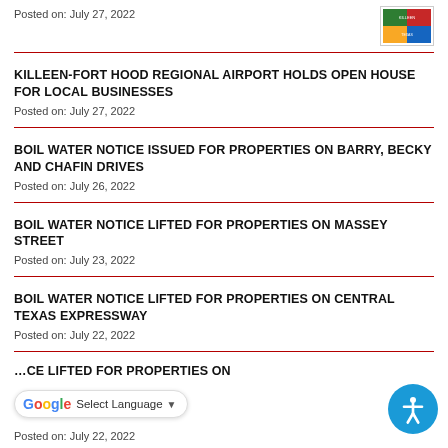Posted on: July 27, 2022
[Figure (logo): Killeen city logo or government seal, small colored image]
KILLEEN-FORT HOOD REGIONAL AIRPORT HOLDS OPEN HOUSE FOR LOCAL BUSINESSES
Posted on: July 27, 2022
BOIL WATER NOTICE ISSUED FOR PROPERTIES ON BARRY, BECKY AND CHAFIN DRIVES
Posted on: July 26, 2022
BOIL WATER NOTICE LIFTED FOR PROPERTIES ON MASSEY STREET
Posted on: July 23, 2022
BOIL WATER NOTICE LIFTED FOR PROPERTIES ON CENTRAL TEXAS EXPRESSWAY
Posted on: July 22, 2022
…CE LIFTED FOR PROPERTIES ON
Posted on: July 22, 2022